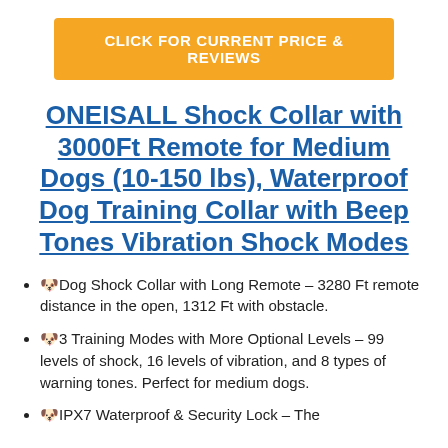[Figure (other): Orange button with white bold text: CLICK FOR CURRENT PRICE & REVIEWS]
ONEISALL Shock Collar with 3000Ft Remote for Medium Dogs (10-150 lbs), Waterproof Dog Training Collar with Beep Tones Vibration Shock Modes
🐶Dog Shock Collar with Long Remote – 3280 Ft remote distance in the open, 1312 Ft with obstacle.
🐶3 Training Modes with More Optional Levels – 99 levels of shock, 16 levels of vibration, and 8 types of warning tones. Perfect for medium dogs.
🐶IPX7 Waterproof & Security Lock – The